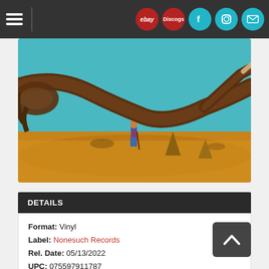Navigation bar with hamburger menu and social/shop icons: ebay, Discogs, Facebook, Instagram, Mail
[Figure (photo): Album cover photo: a person standing in a dry golden grassland with a large fallen/broken tree trunk in the foreground, bright turquoise/teal sky background]
DETAILS
Format: Vinyl
Label: Nonesuch Records
Rel. Date: 05/13/2022
UPC: 075597911787